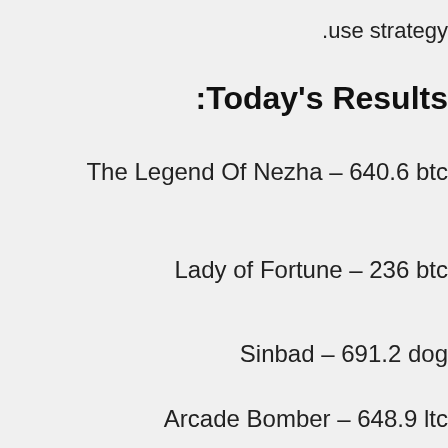.use strategy
:Today's Results
The Legend Of Nezha – 640.6 btc
Lady of Fortune – 236 btc
Sinbad – 691.2 dog
Arcade Bomber – 648.9 ltc